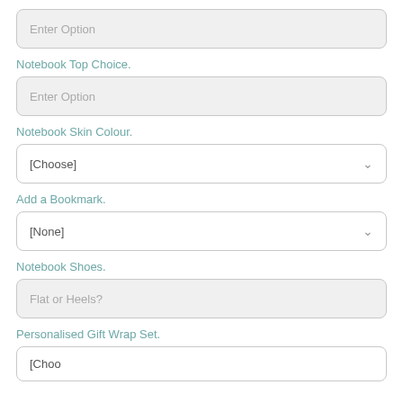Enter Option
Notebook Top Choice.
Enter Option
Notebook Skin Colour.
[Choose]
Add a Bookmark.
[None]
Notebook Shoes.
Flat or Heels?
Personalised Gift Wrap Set.
[Choose]